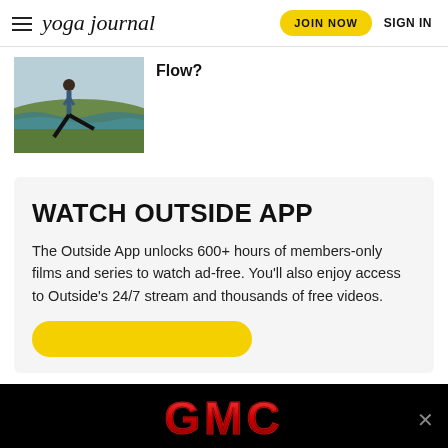yoga journal | JOIN NOW | SIGN IN
Flow?
[Figure (photo): Person doing a yoga pose outdoors near ocean/landscape background]
WATCH OUTSIDE APP
The Outside App unlocks 600+ hours of members-only films and series to watch ad-free. You'll also enjoy access to Outside's 24/7 stream and thousands of free videos.
[Figure (logo): GMC logo advertisement banner on black background]